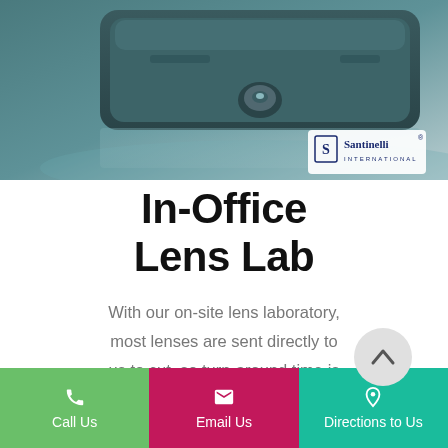[Figure (photo): Close-up photo of a Santinelli International lens edging machine, dark teal colored device on a reflective surface. Santinelli International logo in the bottom-right corner of the image.]
In-Office Lens Lab
With our on-site lens laboratory, most lenses are sent directly to us to cut, so turn-around time is shortened, and in turn, glasses will be ready faster than the average time of 7-14 business days that are quoted at other opticals without an in-office lab.
Call Us | Email Us | Directions to Us